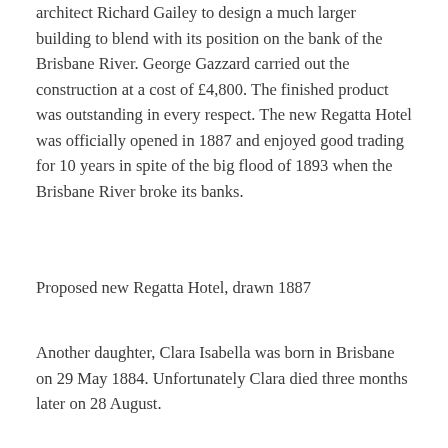architect Richard Gailey to design a much larger building to blend with its position on the bank of the Brisbane River. George Gazzard carried out the construction at a cost of £4,800. The finished product was outstanding in every respect. The new Regatta Hotel was officially opened in 1887 and enjoyed good trading for 10 years in spite of the big flood of 1893 when the Brisbane River broke its banks.
Proposed new Regatta Hotel, drawn 1887
Another daughter, Clara Isabella was born in Brisbane on 29 May 1884. Unfortunately Clara died three months later on 28 August.